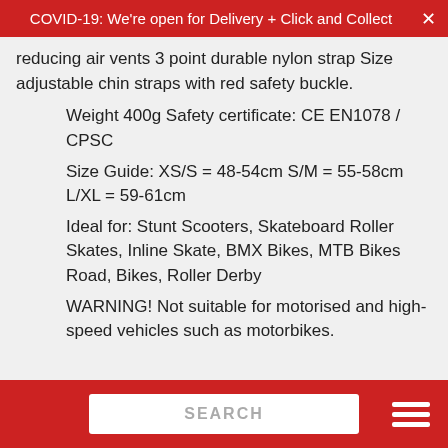COVID-19: We're open for Delivery + Click and Collect
reducing air vents 3 point durable nylon strap Size adjustable chin straps with red safety buckle.
Weight 400g Safety certificate: CE EN1078 / CPSC
Size Guide: XS/S = 48-54cm S/M = 55-58cm L/XL = 59-61cm
Ideal for: Stunt Scooters, Skateboard Roller Skates, Inline Skate, BMX Bikes, MTB Bikes Road, Bikes, Roller Derby
WARNING! Not suitable for motorised and high-speed vehicles such as motorbikes.
SEARCH